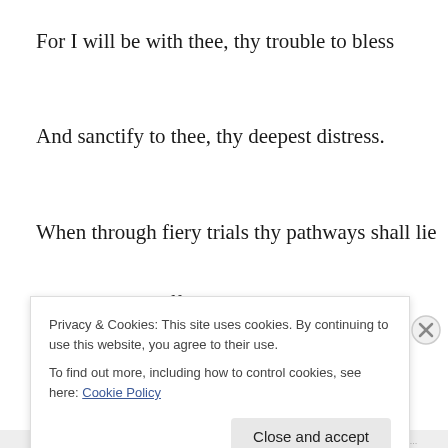For I will be with thee, thy trouble to bless
And sanctify to thee, thy deepest distress.
When through fiery trials thy pathways shall lie
My grace all-sufficient shall be thy supply.
Privacy & Cookies: This site uses cookies. By continuing to use this website, you agree to their use.
To find out more, including how to control cookies, see here: Cookie Policy